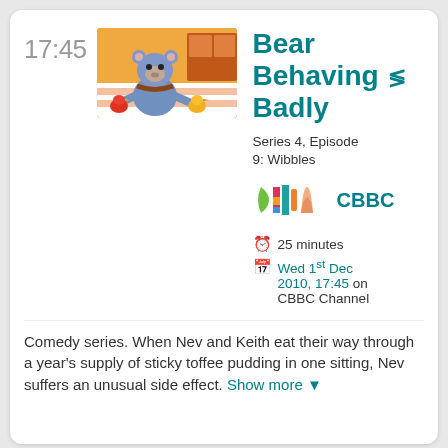17:45
[Figure (photo): Thumbnail image of Bear Behaving Badly showing a bear puppet with toy rubber ducks in a colorful room]
Bear Behaving Badly
Series 4, Episode 9: Wibbles
[Figure (logo): CBBC channel logo - colorful curved shapes]
CBBC
25 minutes
Wed 1st Dec 2010, 17:45 on CBBC Channel
Comedy series. When Nev and Keith eat their way through a year's supply of sticky toffee pudding in one sitting, Nev suffers an unusual side effect. Show more